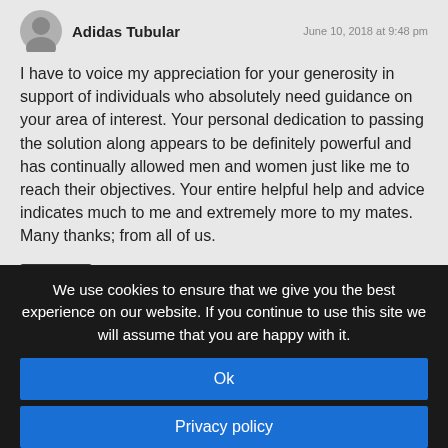Adidas Tubular
June 10, 2018 at 9:48 pm
I have to voice my appreciation for your generosity in support of individuals who absolutely need guidance on your area of interest. Your personal dedication to passing the solution along appears to be definitely powerful and has continually allowed men and women just like me to reach their objectives. Your entire helpful help and advice indicates much to me and extremely more to my mates. Many thanks; from all of us.
Reply
We use cookies to ensure that we give you the best experience on our website. If you continue to use this site we will assume that you are happy with it.
Ok
Privacy policy